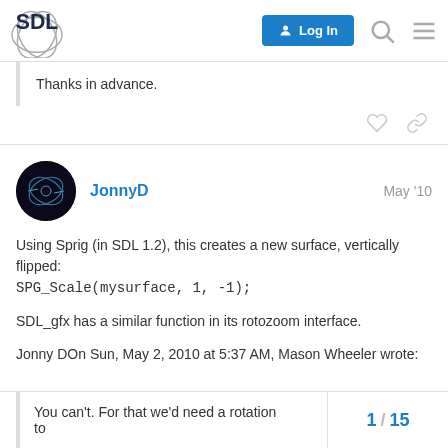[Figure (logo): SDL (Simple DirectMedia Layer) logo with white globe/ellipse graphic and bold SDL text]
Thanks in advance.
JonnyD  May '10
Using Sprig (in SDL 1.2), this creates a new surface, vertically flipped:
SPG_Scale(mysurface, 1, -1);
SDL_gfx has a similar function in its rotozoom interface.
Jonny DOn Sun, May 2, 2010 at 5:37 AM, Mason Wheeler wrote:
You can't. For that we'd need a rotation to
1 / 15